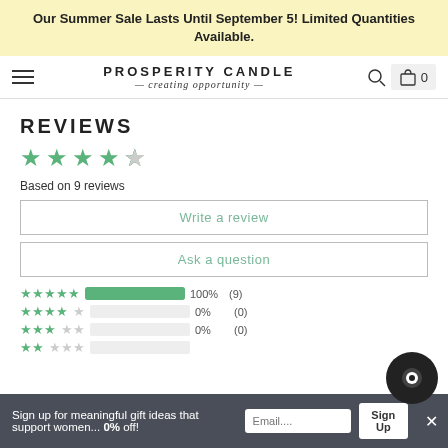Our Summer Sale Lasts Until September 5! Limited Quantities Available.
[Figure (logo): Prosperity Candle logo with tagline 'creating opportunity', hamburger menu icon, search icon, and cart icon showing 0 items]
REVIEWS
[Figure (infographic): 4.5 star rating shown in green stars]
Based on 9 reviews
Write a review
Ask a question
| Stars | Bar | Percent | Count |
| --- | --- | --- | --- |
| 5 stars | 100% | 100% | (9) |
| 4 stars |  | 0% | (0) |
| 3 stars |  | 0% | (0) |
| 2 stars |  |  |  |
Sign up for meaningful gift ideas that support women... 0% off!
Email....
Sign Up